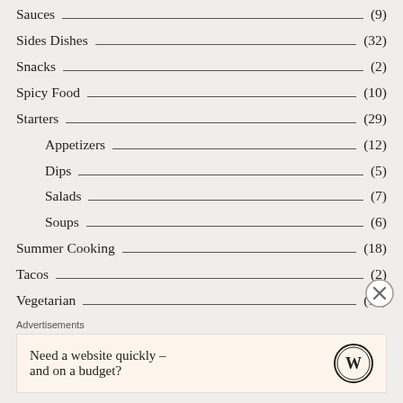Sauces (9)
Sides Dishes (32)
Snacks (2)
Spicy Food (10)
Starters (29)
Appetizers (12)
Dips (5)
Salads (7)
Soups (6)
Summer Cooking (18)
Tacos (2)
Vegetarian (16)
Advertisements
Need a website quickly – and on a budget?